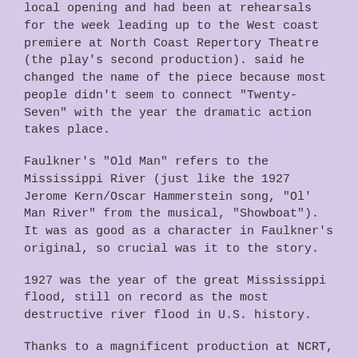local opening and had been at rehearsals for the week leading up to the West coast premiere at North Coast Repertory Theatre (the play's second production). said he changed the name of the piece because most people didn't seem to connect "Twenty-Seven" with the year the dramatic action takes place.
Faulkner's "Old Man" refers to the Mississippi River (just like the 1927 Jerome Kern/Oscar Hammerstein song, "Ol' Man River" from the musical, "Showboat"). It was as good as a character in Faulkner's original, so crucial was it to the story.
1927 was the year of the great Mississippi flood, still on record as the most destructive river flood in U.S. history.
Thanks to a magnificent production at NCRT, we feel the terror of the flooding, and the spine-chilling